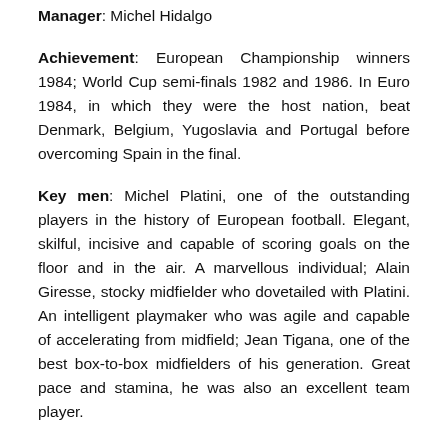Manager: Michel Hidalgo
Achievement: European Championship winners 1984; World Cup semi-finals 1982 and 1986. In Euro 1984, in which they were the host nation, beat Denmark, Belgium, Yugoslavia and Portugal before overcoming Spain in the final.
Key men: Michel Platini, one of the outstanding players in the history of European football. Elegant, skilful, incisive and capable of scoring goals on the floor and in the air. A marvellous individual; Alain Giresse, stocky midfielder who dovetailed with Platini. An intelligent playmaker who was agile and capable of accelerating from midfield; Jean Tigana, one of the best box-to-box midfielders of his generation. Great pace and stamina, he was also an excellent team player.